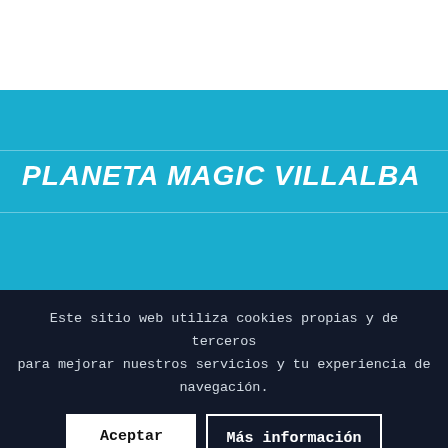PLANETA MAGIC VILLALBA
Este sitio web utiliza cookies propias y de terceros para mejorar nuestros servicios y tu experiencia de navegación.
Aceptar
Más información